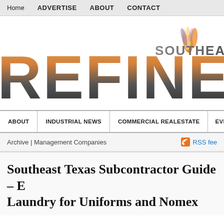Home  ADVERTISE  ABOUT  CONTACT
[Figure (logo): Southeast Texas Refinery logo — large stylized 'REFINE' text with orange-to-dark gradient and flame icon above, 'SOUTHEA' text to the upper right]
ABOUT  INDUSTRIAL NEWS  COMMERCIAL REALESTATE  EVEN
Archive | Management Companies  RSS fee
Southeast Texas Subcontractor Guide – E Laundry for Uniforms and Nomex